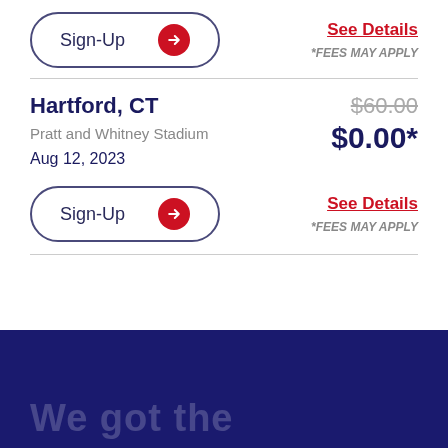[Figure (other): Sign-Up button with red arrow circle, and See Details link with fees note (top section)]
Hartford, CT
Pratt and Whitney Stadium
Aug 12, 2023
$60.00 $0.00*
[Figure (other): Sign-Up button with red arrow circle, and See Details link with fees note (bottom section)]
We got the